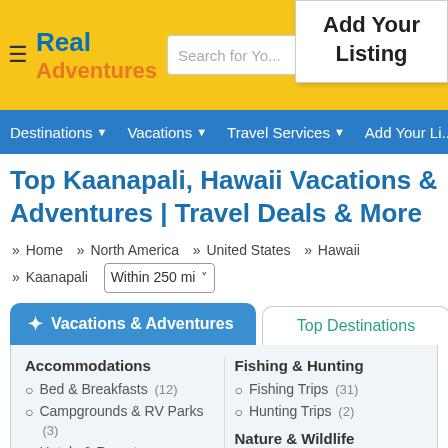Real Adventures — Search bar — Add Your Listing
Destinations | Vacations | Travel Services | Add Your Listing
Top Kaanapali, Hawaii Vacations & Adventures | Travel Deals & More
» Home » North America » United States » Hawaii » Kaanapali — Within 250 mi
Vacations & Adventures | Top Destinations
Accommodations: Bed & Breakfasts (12), Campgrounds & RV Parks (3), Hotels & Resorts (223), Vacation Rentals (59)
Fishing & Hunting: Fishing Trips (31), Hunting Trips (2)
Nature & Wildlife: Eco Tours (9), Whale Watching (1)
+ See More